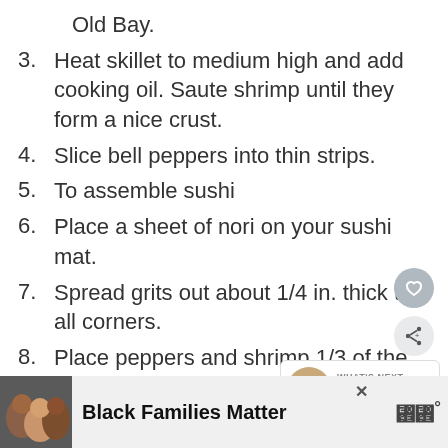Old Bay.
3. Heat skillet to medium high and add cooking oil. Saute shrimp until they form a nice crust.
4. Slice bell peppers into thin strips.
5. To assemble sushi
6. Place a sheet of nori on your sushi mat.
7. Spread grits out about 1/4 in. thick to all corners.
8. Place peppers and shrimp 1/3 of the way down.
[Figure (screenshot): What's Next widget showing a thumbnail and text 'Cinnamon, Coconut,...']
[Figure (photo): Advertisement banner showing smiling people with text 'Black Families Matter' and a logo]